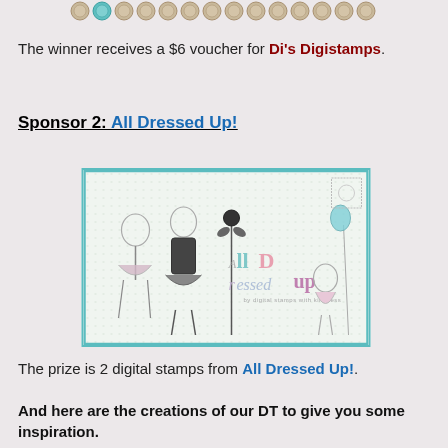[Figure (illustration): A decorative strip of circular coin/button shapes in tan and teal colors at the top of the page]
The winner receives a $6 voucher for Di's Digistamps.
Sponsor 2: All Dressed Up!
[Figure (illustration): All Dressed Up! brand banner showing illustrated fashion figures (girls in dresses) with colorful 'All Dressed Up' lettering on a dotted background with teal border]
The prize is 2 digital stamps from All Dressed Up!.
And here are the creations of our DT to give you some inspiration.